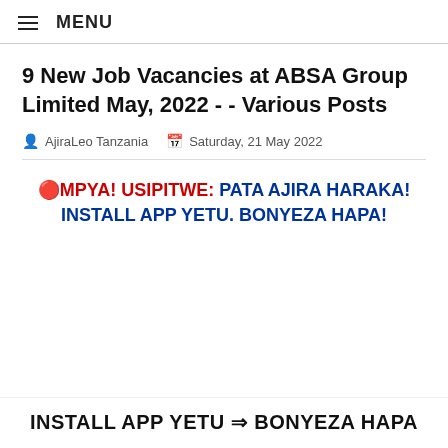≡ MENU
9 New Job Vacancies at ABSA Group Limited May, 2022 - - Various Posts
AjiraLeo Tanzania   Saturday, 21 May 2022
🔴MPYA! USIPITWE: PATA AJIRA HARAKA! INSTALL APP YETU. BONYEZA HAPA!
INSTALL APP YETU ⇒ BONYEZA HAPA